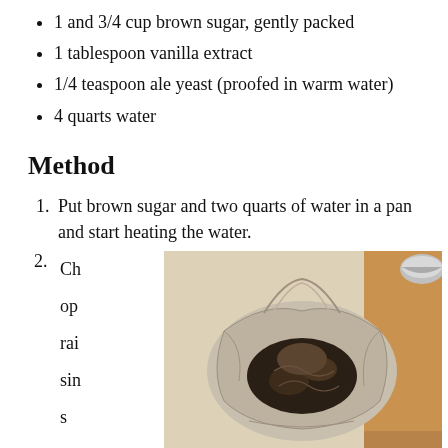1 and 3/4 cup brown sugar, gently packed
1 tablespoon vanilla extract
1/4 teaspoon ale yeast (proofed in warm water)
4 quarts water
Method
Put brown sugar and two quarts of water in a pan and start heating the water.
Chop raisins
[Figure (photo): A cloth bag or cheesecloth bundle containing dark dried ingredients (raisins or similar), placed on a light surface next to a wooden cutting board and a small metallic bowl in the corner.]